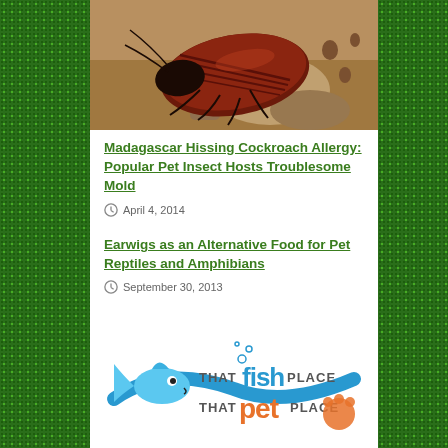[Figure (photo): Close-up photo of a Madagascar Hissing Cockroach on bark/wood surface, reddish-brown segmented body]
Madagascar Hissing Cockroach Allergy: Popular Pet Insect Hosts Troublesome Mold
April 4, 2014
Earwigs as an Alternative Food for Pet Reptiles and Amphibians
September 30, 2013
[Figure (logo): That Fish Place That Pet Place logo with cartoon fish and paw print]